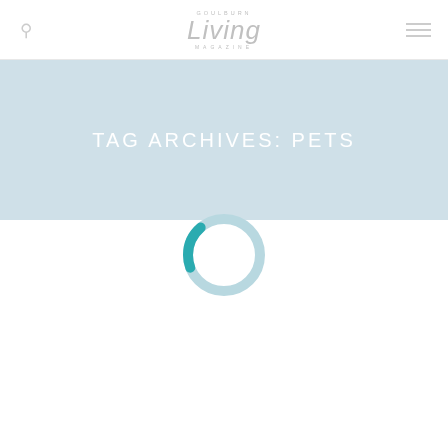Goulburn Living Magazine
TAG ARCHIVES: PETS
[Figure (other): Loading spinner — a donut/ring shape partially filled with teal color (roughly 1/5 of the ring) on a light blue-grey ring background, indicating page content is loading.]